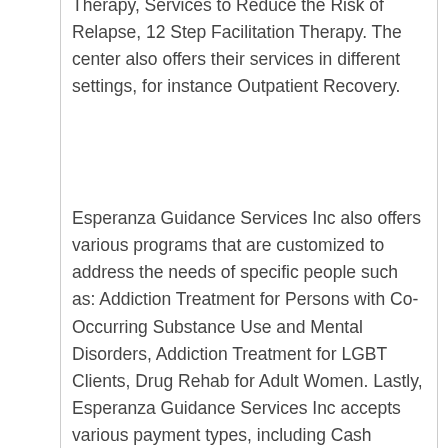Therapy, Services to Reduce the Risk of Relapse, 12 Step Facilitation Therapy. The center also offers their services in different settings, for instance Outpatient Recovery.
Esperanza Guidance Services Inc also offers various programs that are customized to address the needs of specific people such as: Addiction Treatment for Persons with Co-Occurring Substance Use and Mental Disorders, Addiction Treatment for LGBT Clients, Drug Rehab for Adult Women. Lastly, Esperanza Guidance Services Inc accepts various payment types, including Cash Payment, Medicaid for Alcohol and Drug Treatment, Private Insurance for Addiction Treatment.